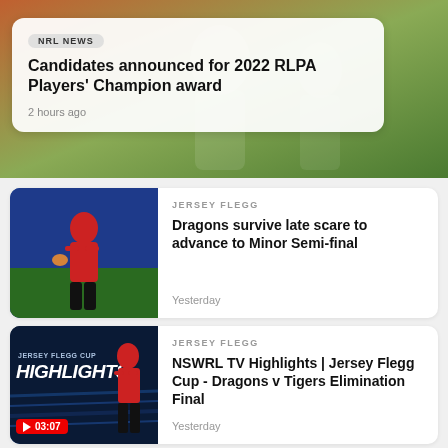[Figure (photo): Hero banner with rugby players in background, orange and green tones]
NRL NEWS
Candidates announced for 2022 RLPA Players' Champion award
2 hours ago
[Figure (photo): Rugby league player in red jersey running with ball, blue stadium background]
JERSEY FLEGG
Dragons survive late scare to advance to Minor Semi-final
Yesterday
[Figure (screenshot): Jersey Flegg Cup Highlights thumbnail with player in red jersey, dark blue background with speed lines]
JERSEY FLEGG
NSWRL TV Highlights | Jersey Flegg Cup - Dragons v Tigers Elimination Final
Yesterday